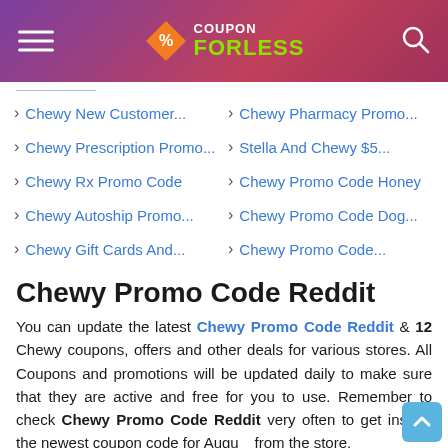COUPON FORLESS
Chewy New Customer...
Chewy Pharmacy Promo...
Chewy Prescription Promo...
Stella And Chewy $5...
Chewy Rx Promo Code
Chewy Promo Code Honey
Chewy Autoship Promo...
Chewy Promo Code Dog...
Chewy Gift Cards And...
Chewy Promo Code...
Chewy Promo Code Reddit
You can update the latest Chewy Promo Code Reddit & 12 Chewy coupons, offers and other deals for various stores. All Coupons and promotions will be updated daily to make sure that they are active and free for you to use. Remember to check Chewy Promo Code Reddit very often to get instant the newest coupon code for August from the store.